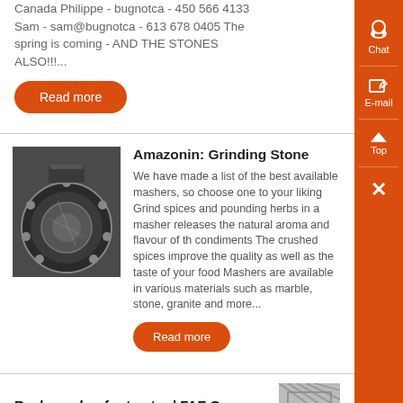Canada Philippe - bugnotca - 450 566 4133 Sam - sam@bugnotca - 613 678 0405 The spring is coming - AND THE STONES ALSO!!!...
Read more
Amazonin: Grinding Stone
We have made a list of the best available mashers, so choose one to your liking Grind spices and pounding herbs in a masher releases the natural aroma and flavour of the condiments The crushed spices improve the quality as well as the taste of your food Mashers are available in various materials such as marble, stone, granite and more...
[Figure (photo): Close-up photo of a large industrial grinding stone or gear wheel]
Read more
Rock crusher for tractor | FAE Group
[Figure (photo): Partial image of rock crushing machinery]